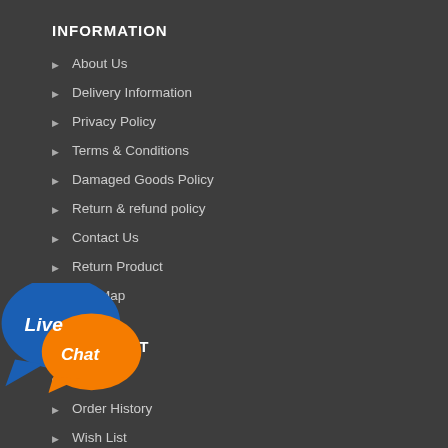INFORMATION
About Us
Delivery Information
Privacy Policy
Terms & Conditions
Damaged Goods Policy
Return & refund policy
Contact Us
Return Product
Site Map
MY ACCOUNT
Account
Order History
Wish List
[Figure (logo): Live Chat badge with blue speech bubble labeled 'Live' and orange speech bubble labeled 'Chat']